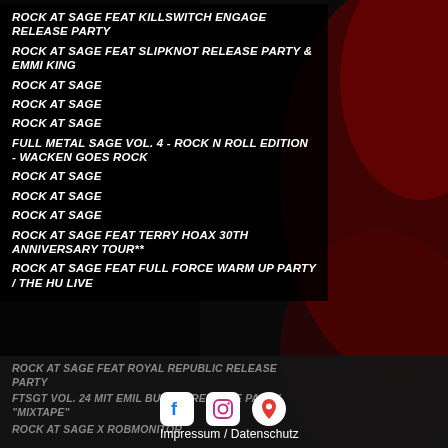ROCK AT SAGE FEAT KILLSWITCH ENGAGE RELEASE PARTY
ROCK AT SAGE FEAT SLIPKNOT RELEASE PARTY & EMMI KING
ROCK AT SAGE
ROCK AT SAGE
ROCK AT SAGE
FULL METAL SAGE VOL. 4 - ROCK N ROLL EDITION - WACKEN GOES ROCK
ROCK AT SAGE
ROCK AT SAGE
ROCK AT SAGE
ROCK AT SAGE FEAT TERRY HOAX 30TH ANNIVERSARY TOUR**
ROCK AT SAGE FEAT FULL FORCE WARM UP PARTY / THE HU LIVE
ROCK AT SAGE FEAT ROYAL REPUBLIC RELEASE PARTY
FTSGT VOL. 24 MIT EMIL BULLS - RELEASE PARTY "MIXTAPE"
ROCK AT SAGE X ROBMONITOR
[Figure (logo): Social media icons: Facebook (f logo), Instagram (camera logo), Location pin icon]
Impressum / Datenschutz